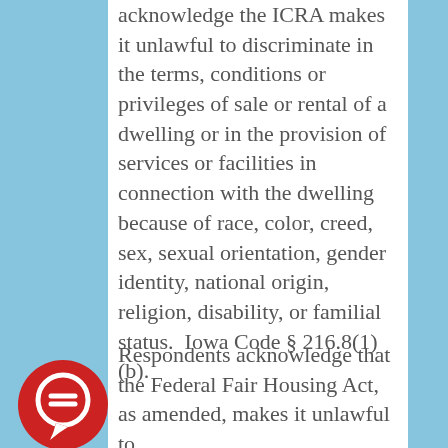acknowledge the ICRA makes it unlawful to discriminate in the terms, conditions or privileges of sale or rental of a dwelling or in the provision of services or facilities in connection with the dwelling because of race, color, creed, sex, sexual orientation, gender identity, national origin, religion, disability, or familial status.  Iowa Code § 216.8(1)(b).
Respondents acknowledge that the Federal Fair Housing Act, as amended, makes it unlawful to